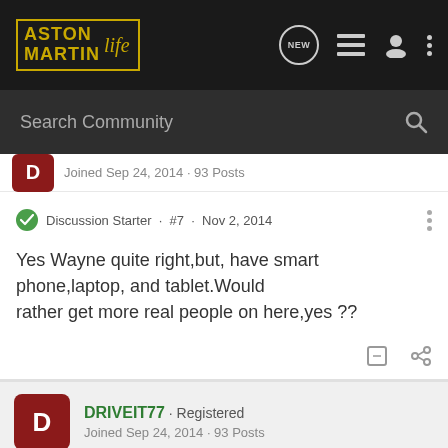Aston Martin Life — Navigation bar with Search Community
Joined Sep 24, 2014 · 93 Posts
Discussion Starter · #7 · Nov 2, 2014
Yes Wayne quite right,but, have smart phone,laptop, and tablet.Would rather get more real people on here,yes ??
DRIVEIT77 · Registered
Joined Sep 24, 2014 · 93 Posts